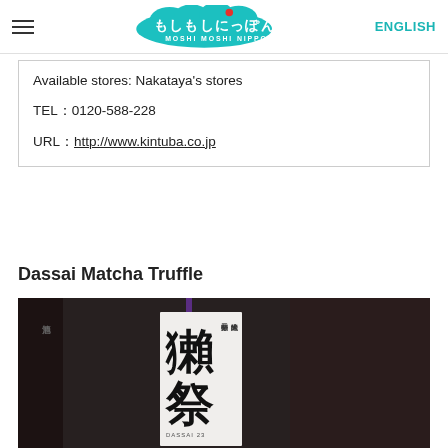Moshi Moshi Nippon — ENGLISH
Available stores: Nakataya's stores
TEL：0120-588-228
URL：http://www.kintuba.co.jp
Dassai Matcha Truffle
[Figure (photo): A bottle of Dassai sake with Japanese kanji label on a dark background]